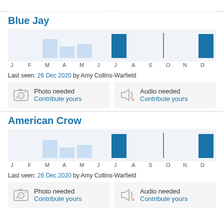[Figure (bar-chart): Blue Jay sighting frequency by month]
Last seen: 26 Dec 2020 by Amy Collins-Warfield
Photo needed Contribute yours
Audio needed Contribute yours
American Crow
[Figure (bar-chart): American Crow sighting frequency by month]
Last seen: 26 Dec 2020 by Amy Collins-Warfield
Photo needed Contribute yours
Audio needed Contribute yours